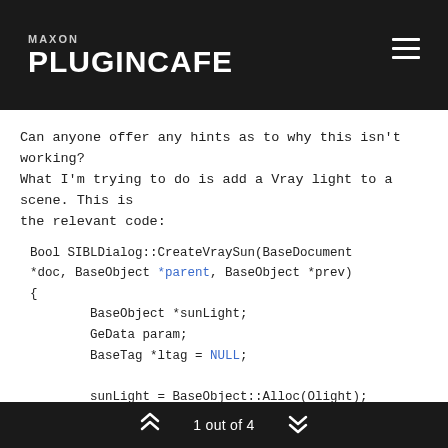MAXON PLUGINCAFE
Can anyone offer any hints as to why this isn't working? What I'm trying to do is add a Vray light to a scene. This is the relevant code:
Bool SIBLDialog::CreateVraySun(BaseDocument *doc, BaseObject *parent, BaseObject *prev)
{
        BaseObject *sunLight;
        GeData param;
        BaseTag *ltag = NULL;

        sunLight = BaseObject::Alloc(Olight);
        if(sunLight)
        {
                sunLight->SetName("sIBL_Sun");
1 out of 4